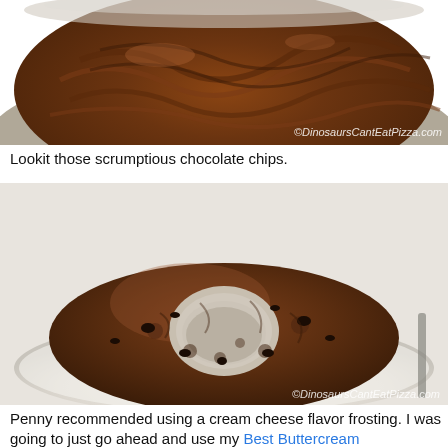[Figure (photo): Close-up photo of chocolate batter with chocolate chips in a silver mixing bowl, watermarked with ©DinosaursCantEatPizza.com]
Lookit those scrumptious chocolate chips.
[Figure (photo): Photo of a baked chocolate bundt cake with chocolate chips on a white plate, watermarked with ©DinosaursCantEatPizza.com]
Penny recommended using a cream cheese flavor frosting. I was going to just go ahead and use my Best Buttercream